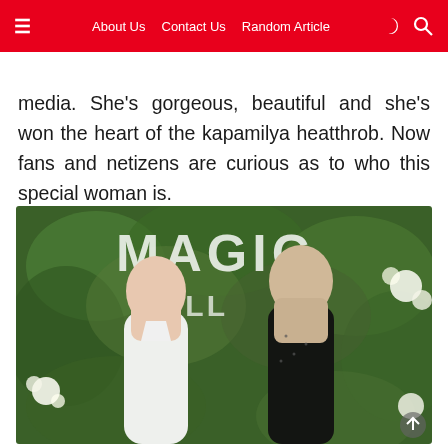About Us  Contact Us  Random Article
media. She's gorgeous, beautiful and she's won the heart of the kapamilya heatthrob. Now fans and netizens are curious as to who this special woman is.
[Figure (photo): A man and a woman posing together in front of a green floral wall with white letters spelling MAGIC. The woman is wearing a white halter dress and the man is wearing a black sequined blazer.]